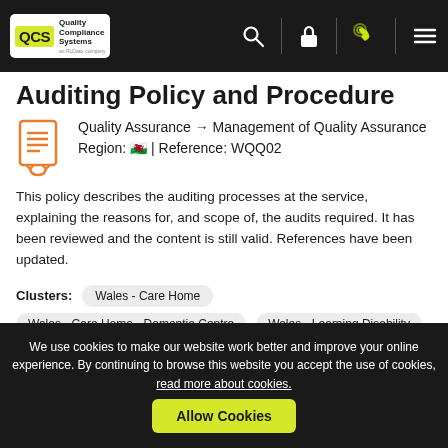Quality Compliance Systems - Navigation bar with search, lock, phone, and menu icons
Auditing Policy and Procedure
Quality Assurance → Management of Quality Assurance
Region: 🏴󠁧󠁢󠁷󠁬󠁳󠁿 | Reference: WQQ02
This policy describes the auditing processes at the service, explaining the reasons for, and scope of, the audits required. It has been reviewed and the content is still valid. References have been updated.
Clusters: Wales - Care Home
Wales - Care Home - Dementia Centre    Wales - Learning Disability
+ Show more
We use cookies to make our website work better and improve your online experience. By continuing to browse this website you accept the use of cookies, read more about cookies.